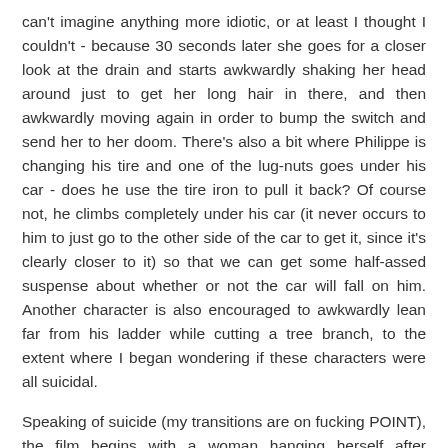can't imagine anything more idiotic, or at least I thought I couldn't - because 30 seconds later she goes for a closer look at the drain and starts awkwardly shaking her head around just to get her long hair in there, and then awkwardly moving again in order to bump the switch and send her to her doom. There's also a bit where Philippe is changing his tire and one of the lug-nuts goes under his car - does he use the tire iron to pull it back? Of course not, he climbs completely under his car (it never occurs to him to just go to the other side of the car to get it, since it's clearly closer to it) so that we can get some half-assed suspense about whether or not the car will fall on him. Another character is also encouraged to awkwardly lean far from his ladder while cutting a tree branch, to the extent where I began wondering if these characters were all suicidal.
Speaking of suicide (my transitions are on fucking POINT), the film begins with a woman hanging herself after throwing away something wrapped up so that we can't see it, but the dog is afraid of it and she gives about forty seven worried glances at the trashcan before going inside to start noosin'. If you've never seen a movie (hell, if you're not even sure what